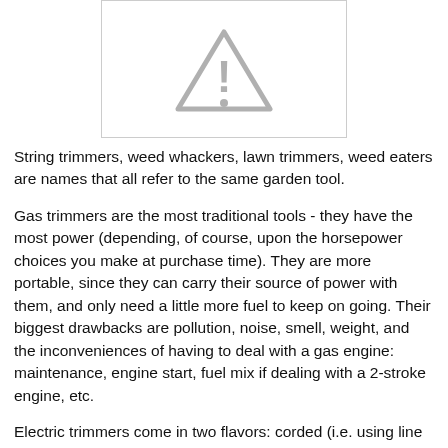[Figure (other): Placeholder image with a warning triangle (exclamation mark) icon, grey on white background with border.]
String trimmers, weed whackers, lawn trimmers, weed eaters are names that all refer to the same garden tool.
Gas trimmers are the most traditional tools - they have the most power (depending, of course, upon the horsepower choices you make at purchase time). They are more portable, since they can carry their source of power with them, and only need a little more fuel to keep on going. Their biggest drawbacks are pollution, noise, smell, weight, and the inconveniences of having to deal with a gas engine: maintenance, engine start, fuel mix if dealing with a 2-stroke engine, etc.
Electric trimmers come in two flavors: corded (i.e. using line power, needing an outlet), and battery-powered, or cordless